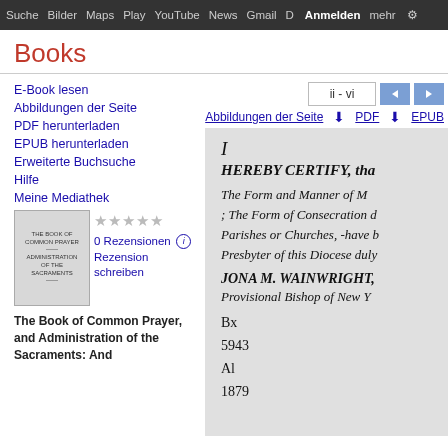Suche  Bilder  Maps  Play  YouTube  News  Gmail  D  Anmelden  mehr
Books
E-Book lesen
Abbildungen der Seite
PDF herunterladen
EPUB herunterladen
Erweiterte Buchsuche
Hilfe
Meine Mediathek
0 Rezensionen
Rezension schreiben
[Figure (other): Thumbnail of book cover: The Book of Common Prayer]
The Book of Common Prayer, and Administration of the Sacraments: And
[Figure (other): Scanned book page preview showing: I HEREBY CERTIFY, tha... The Form and Manner of M... ; The Form of Consecration d... Parishes or Churches, -have b... Presbyter of this Diocese duly... JONA M. WAINWRIGHT, Provisional Bishop of New Y... Bx 5943 Al 1879]
ii - vi
Abbildungen der Seite  PDF  EPUB